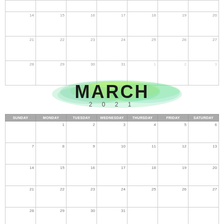| SUN | MON | TUE | WED | THU | FRI | SAT |
| --- | --- | --- | --- | --- | --- | --- |
|  |  |  |  |  |  |  |
| 14 | 15 | 16 | 17 | 18 | 19 | 20 |
| 21 | 22 | 23 | 24 | 25 | 26 | 27 |
| 28 | 29 | 30 | 31 | 1 | 2 | 3 |
MARCH
2 0 2 1
| SUNDAY | MONDAY | TUESDAY | WEDNESDAY | THURSDAY | FRIDAY | SATURDAY |
| --- | --- | --- | --- | --- | --- | --- |
|  | 1 | 2 | 3 | 4 | 5 | 6 |
| 7 | 8 | 9 | 10 | 11 | 12 | 13 |
| 14 | 15 | 16 | 17 | 18 | 19 | 20 |
| 21 | 22 | 23 | 24 | 25 | 26 | 27 |
| 28 | 29 | 30 | 31 |  |  |  |